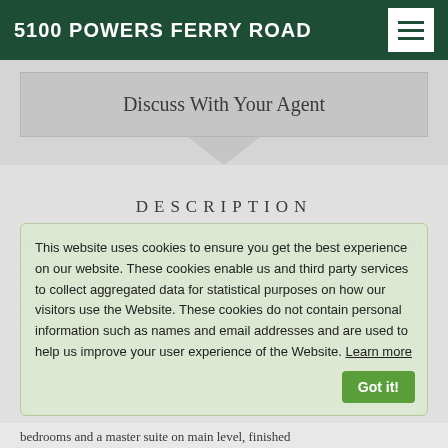5100 POWERS FERRY ROAD
Discuss With Your Agent
DESCRIPTION
This website uses cookies to ensure you get the best experience on our website. These cookies enable us and third party services to collect aggregated data for statistical purposes on how our visitors use the Website. These cookies do not contain personal information such as names and email addresses and are used to help us improve your user experience of the Website. Learn more
Remarkable home thoughtfully designed on custom home. Estate lot of 1.284 acres with 214' of road frontage. Close to excellent private and award-winning public schools. Perfect location - secluded but convenient to shopping, Chastain Park and Chastain Stables. Private, secluded ambiance with mature landscaping. Three